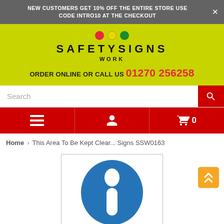NEW CUSTOMERS GET 10% OFF THE ENTIRE STORE USE CODE INTRO10 AT THE CHECKOUT
[Figure (logo): SafetySigns.work logo with red, yellow, green dots above brand name]
ORDER ONLINE OR CALL US 01270 256258
Search
[Figure (infographic): Navigation bar with hamburger menu, user account icon, and cart icon showing 0 items]
Home › This Area To Be Kept Clear... Signs SSW0163
[Figure (photo): Blue mandatory safety sign showing white exclamation mark on blue circular background]